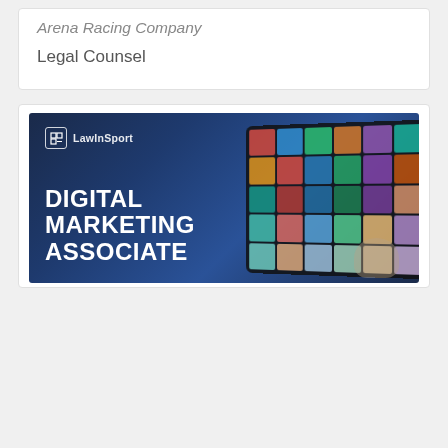Arena Racing Company
Legal Counsel
[Figure (illustration): LawInSport advertisement banner showing 'DIGITAL MARKETING ASSOCIATE' text in bold white on a dark blue background with a tablet displaying multiple media thumbnails]